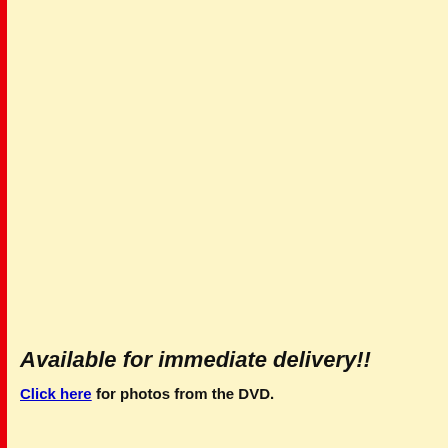Available for immediate delivery!!
Click here for photos from the DVD.